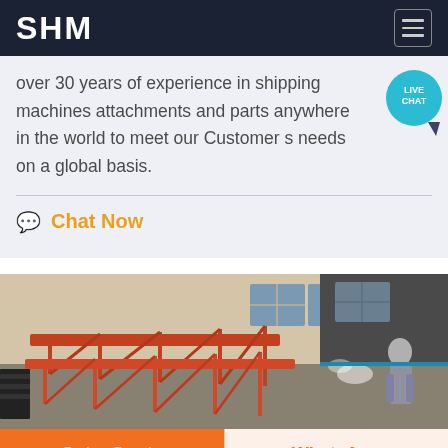SHM
over 30 years of experience in shipping machines attachments and parts anywhere in the world to meet our Customer s needs on a global basis.
Chat Now
[Figure (photo): Industrial red metal scaffolding frames stacked in a warehouse or outdoor area, with a worker visible on the right side.]
Get a Quote
WhatsApp